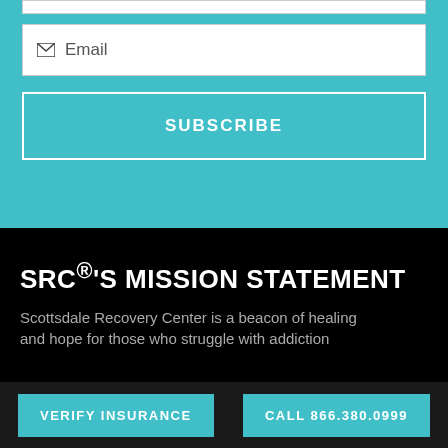Email
SUBSCRIBE
SRC®'S MISSION STATEMENT
Scottsdale Recovery Center is a beacon of healing and hope for those who struggle with addiction
VERIFY INSURANCE
CALL 866.380.0999